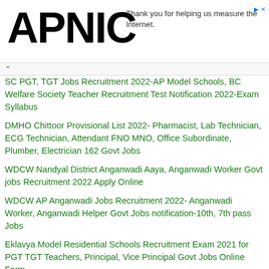APNIC — Thank you for helping us measure the Internet.
SC PGT, TGT Jobs Recruitment 2022-AP Model Schools, BC Welfare Society Teacher Recruitment Test Notification 2022-Exam Syllabus
DMHO Chittoor Provisional List 2022- Pharmacist, Lab Technician, ECG Technician, Attendant FNO MNO, Office Subordinate, Plumber, Electrician 162 Govt Jobs
WDCW Nandyal District Anganwadi Aaya, Anganwadi Worker Govt jobs Recruitment 2022 Apply Online
WDCW AP Anganwadi Jobs Recruitment 2022- Anganwadi Worker, Anganwadi Helper Govt Jobs notification-10th, 7th pass Jobs
Eklavya Model Residential Schools Recruitment Exam 2021 for PGT TGT Teachers, Principal, Vice Principal Govt Jobs Online Form